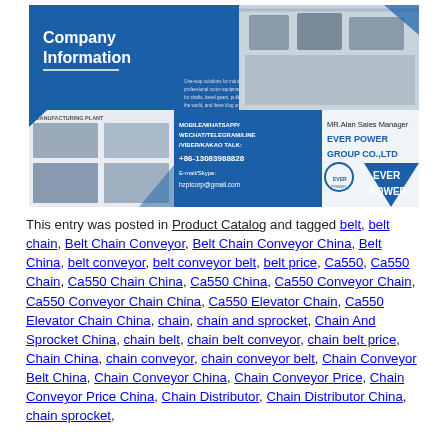[Figure (photo): Company Information banner for Ever Power Group Co., Ltd showing manufacturing plant photos, contact information (mobile/whatsapp/wechat/telegram/line/viber/kakao talk: +86-13083988828, E-mail/Skype: hzptcorp@gmail.com), MR. Alan Sales Manager, and Ever Power logo]
This entry was posted in Product Catalog and tagged belt, belt chain, Belt Chain Conveyor, Belt Chain Conveyor China, Belt China, belt conveyor, belt conveyor belt, belt price, Ca550, Ca550 Chain, Ca550 Chain China, Ca550 China, Ca550 Conveyor Chain, Ca550 Conveyor Chain China, Ca550 Elevator Chain, Ca550 Elevator Chain China, chain, chain and sprocket, Chain And Sprocket China, chain belt, chain belt conveyor, chain belt price, Chain China, chain conveyor, chain conveyor belt, Chain Conveyor Belt China, Chain Conveyor China, Chain Conveyor Price, Chain Conveyor Price China, Chain Distributor, Chain Distributor China, chain sprocket,